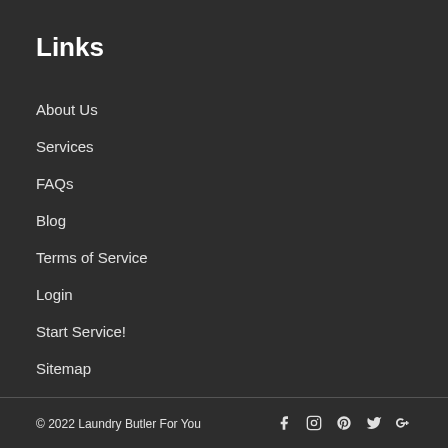Links
About Us
Services
FAQs
Blog
Terms of Service
Login
Start Service!
Sitemap
© 2022 Laundry Butler For You